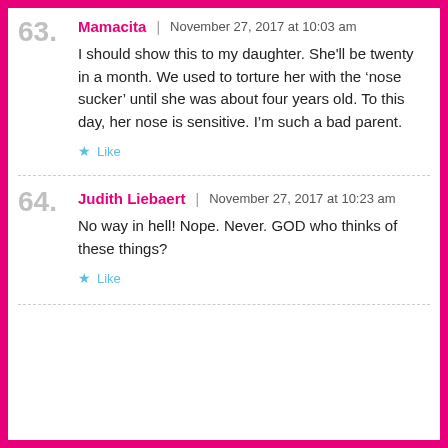63. Mamacita | November 27, 2017 at 10:03 am
I should show this to my daughter. She'll be twenty in a month. We used to torture her with the ‘nose sucker’ until she was about four years old. To this day, her nose is sensitive. I’m such a bad parent.
Like
64. Judith Liebaert | November 27, 2017 at 10:23 am
No way in hell! Nope. Never. GOD who thinks of these things?
Like